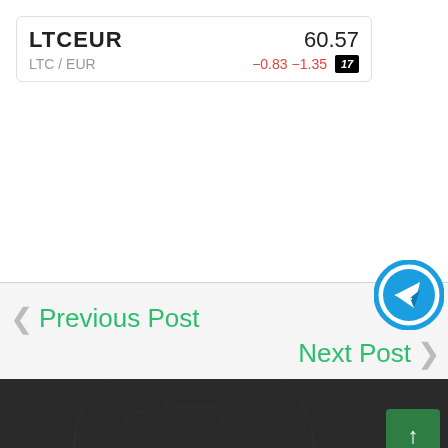LTCEUR  60.57  LTC / EUR  −0.83  −1.35
Previous Post
Next Post
[Figure (screenshot): Telegram share button (blue circle with paper plane icon)]
[Figure (screenshot): Scroll to top button (dark green square with up arrow)]
[Figure (screenshot): Live chat button (green circle with chat icon)]
[Figure (illustration): Dark footer section with faint globe/world map illustration in background]